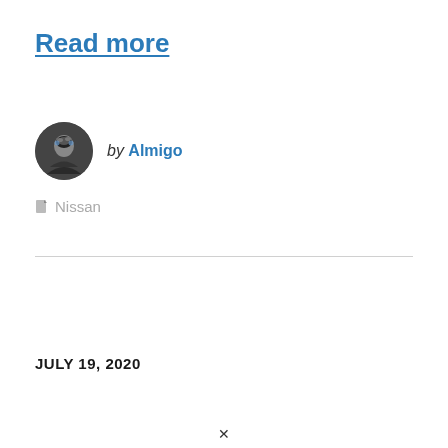Read more
by Almigo
Nissan
JULY 19, 2020